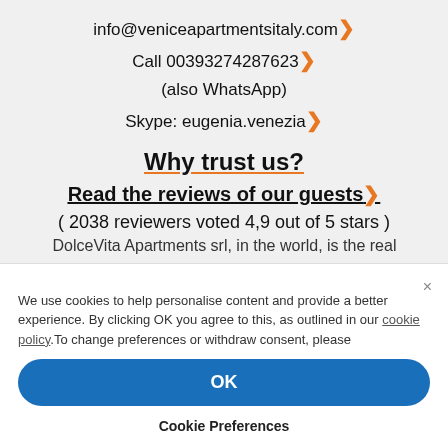info@veniceapartmentsitaly.com›
Call 00393274287623›
(also WhatsApp)
Skype: eugenia.venezia›
Why trust us?
Read the reviews of our guests›
( 2038 reviewers voted 4,9 out of 5 stars )
DolceVita Apartments srl, in the world, is the real...
We use cookies to help personalise content and provide a better experience. By clicking OK you agree to this, as outlined in our cookie policy.To change preferences or withdraw consent, please
OK
Cookie Preferences